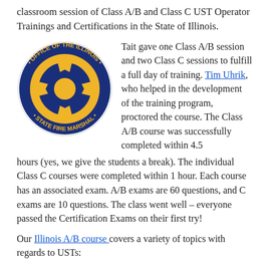classroom session of Class A/B and Class C UST Operator Trainings and Certifications in the State of Illinois.
[Figure (logo): Circular seal of the Office of the Illinois State Fire Marshal with blue border and gold emblem]
Tait gave one Class A/B session and two Class C sessions to fulfill a full day of training. Tim Uhrik, who helped in the development of the training program, proctored the course. The Class A/B course was successfully completed within 4.5 hours (yes, we give the students a break). The individual Class C courses were completed within 1 hour. Each course has an associated exam. A/B exams are 60 questions, and C exams are 10 questions. The class went well – everyone passed the Certification Exams on their first try!
Our Illinois A/B course covers a variety of topics with regards to USTs: